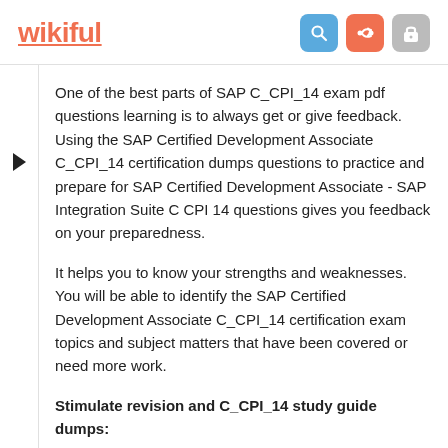wikiful
One of the best parts of SAP C_CPI_14 exam pdf questions learning is to always get or give feedback. Using the SAP Certified Development Associate C_CPI_14 certification dumps questions to practice and prepare for SAP Certified Development Associate - SAP Integration Suite C CPI 14 questions gives you feedback on your preparedness.
It helps you to know your strengths and weaknesses. You will be able to identify the SAP Certified Development Associate C_CPI_14 certification exam topics and subject matters that have been covered or need more work.
Stimulate revision and C_CPI_14 study guide dumps: